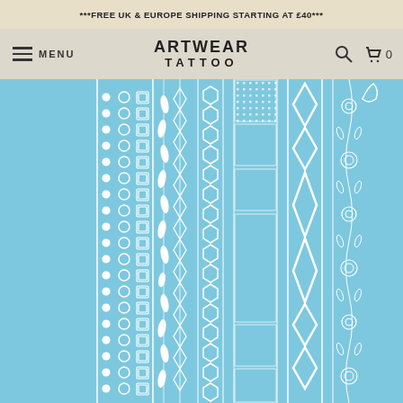***FREE UK & EUROPE SHIPPING STARTING AT £40***
[Figure (logo): Artwear Tattoo logo with hamburger menu, search icon, and cart icon showing 0 items]
[Figure (photo): Product image showing white decorative tattoo strip patterns on a light blue background — various geometric and floral border designs including diamonds, hexagons, Greek key, circles, dots, and botanical motifs]